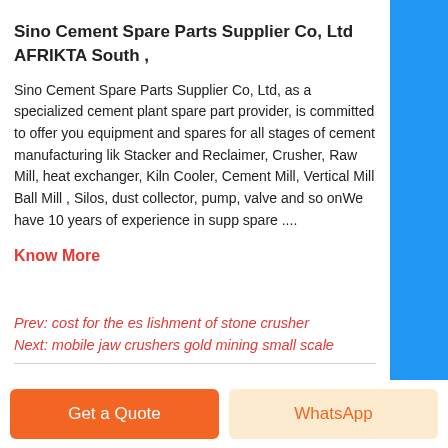Sino Cement Spare Parts Supplier Co, Ltd AFRIKTA South ,
Sino Cement Spare Parts Supplier Co, Ltd, as a specialized cement plant spare part provider, is committed to offer you equipment and spares for all stages of cement manufacturing like Stacker and Reclaimer, Crusher, Raw Mill, heat exchanger, Kiln Cooler, Cement Mill, Vertical Mill Ball Mill , Silos, dust collector, pump, valve and so onWe have 10 years of experience in supply spare ....
Know More
Prev: cost for the es lishment of stone crusher
Next: mobile jaw crushers gold mining small scale
[Figure (illustration): Decorative bubble/liquid graphic in pink and red tones]
Chat
E-mail
Get a Quote
WhatsApp